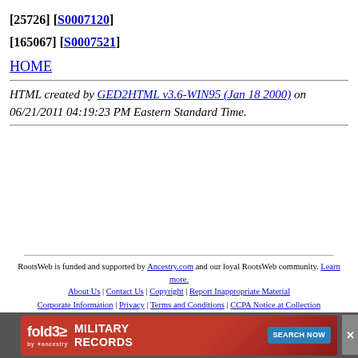[25726] [S0007120]
[165067] [S0007521]
HOME
HTML created by GED2HTML v3.6-WIN95 (Jan 18 2000) on 06/21/2011 04:19:23 PM Eastern Standard Time.
RootsWeb is funded and supported by Ancestry.com and our loyal RootsWeb community. Learn more. | About Us | Contact Us | Copyright | Report Inappropriate Material | Corporate Information | Privacy | Terms and Conditions | CCPA Notice at Collection